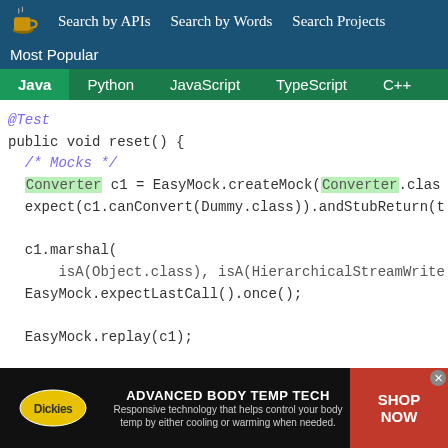Search by APIs  Search by Words  Search Projects
Most Popular
[Figure (screenshot): Language selection tab bar: Java (active), Python, JavaScript, TypeScript, C++, Scala]
@Test
public void reset() {
  /* Mocks */
  Converter c1 = EasyMock.createMock(Converter.clas
  expect(c1.canConvert(Dummy.class)).andStubReturn(t

  c1.marshal(
      isA(Object.class), isA(HierarchicalStreamWrite
  EasyMock.expectLastCall().once();

  EasyMock.replay(c1);

  /* XStream config */
  XStream xstream = XStreamFactory.getSecureXStream(
[Figure (screenshot): Dickies advertisement banner: ADVANCED BODY TEMP TECH - Responsive technology that helps control your body temp by either cooling or warming when needed. SHOP NOW button.]